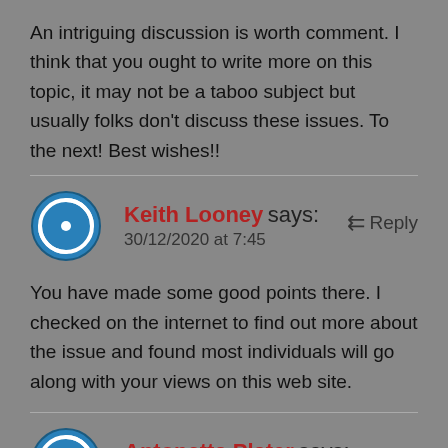An intriguing discussion is worth comment. I think that you ought to write more on this topic, it may not be a taboo subject but usually folks don't discuss these issues. To the next! Best wishes!!
Keith Looney says:
30/12/2020 at 7:45
You have made some good points there. I checked on the internet to find out more about the issue and found most individuals will go along with your views on this web site.
Antonetta Plater says:
30/12/2020 at 8:31
bookmarked!!, I love your website!